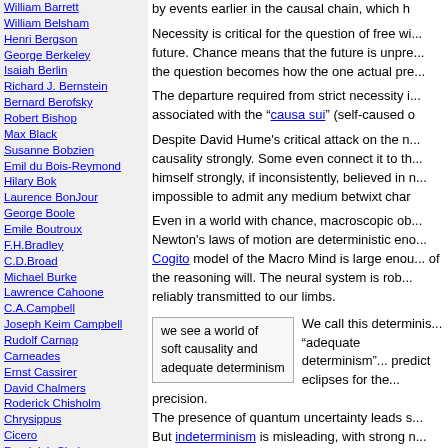William Barrett
William Belsham
Henri Bergson
George Berkeley
Isaiah Berlin
Richard J. Bernstein
Bernard Berofsky
Robert Bishop
Max Black
Susanne Bobzien
Emil du Bois-Reymond
Hilary Bok
Laurence BonJour
George Boole
Emile Boutroux
F.H.Bradley
C.D.Broad
Michael Burke
Lawrence Cahoone
C.A.Campbell
Joseph Keim Campbell
Rudolf Carnap
Carneades
Ernst Cassirer
David Chalmers
Roderick Chisholm
Chrysippus
Cicero
Randolph Clarke
Samuel Clarke
Anthony Collins
Antonella Corradini
Diodorus Cronus
Jonathan Dancy
Donald Davidson
Mario De Caro
Democritus
Daniel Dennett
by events earlier in the causal chain, which h
Necessity is critical for the question of free wi... future. Chance means that the future is unpre... the question becomes how the one actual pre...
The departure required from strict necessity i... associated with the "causa sui" (self-caused o
Despite David Hume's critical attack on the n... causality strongly. Some even connect it to th... himself strongly, if inconsistently, believed in ... impossible to admit any medium betwixt char
Even in a world with chance, macroscopic ob... Newton's laws of motion are deterministic eno... Cogito model of the Macro Mind is large enou... of the reasoning will. The neural system is rob... reliably transmitted to our limbs.
we see a world of soft causality and adequate determinism
We call this determinis... "adequate determinism" ... predict eclipses for the... precision.
The presence of quantum uncertainty leads s... But indeterminism is misleading, with strong n... overwhelmingly "adequately determined."
There is no problem imagining that the three ... conception, and comprehension - are all carn... quantum events do not interfere with normal...